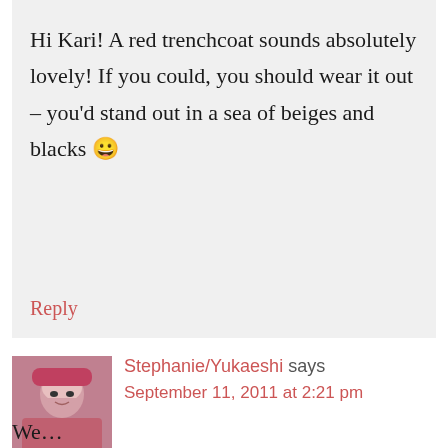Hi Kari! A red trenchcoat sounds absolutely lovely! If you could, you should wear it out – you’d stand out in a sea of beiges and blacks 😀
Reply
Stephanie/Yukaeshi says
September 11, 2011 at 2:21 pm
We… (cut off)